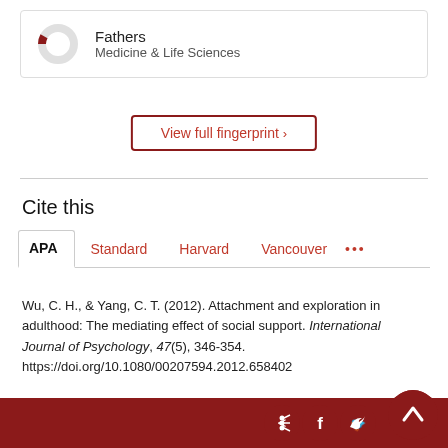[Figure (donut-chart): Partial donut chart icon representing Fathers / Medicine & Life Sciences fingerprint]
Fathers
Medicine & Life Sciences
View full fingerprint >
Cite this
APA  Standard  Harvard  Vancouver  ...
Wu, C. H., & Yang, C. T. (2012). Attachment and exploration in adulthood: The mediating effect of social support. International Journal of Psychology, 47(5), 346-354. https://doi.org/10.1080/00207594.2012.658402